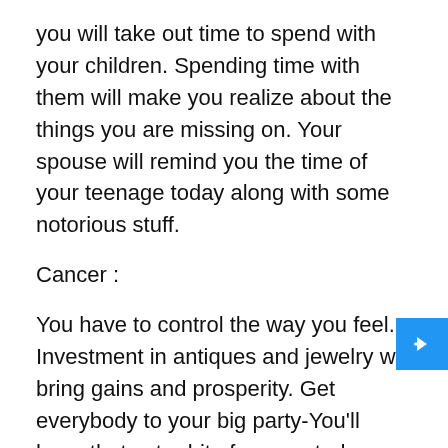you will take out time to spend with your children. Spending time with them will make you realize about the things you are missing on. Your spouse will remind you the time of your teenage today along with some notorious stuff.
Cancer :
You have to control the way you feel. Investment in antiques and jewelry will bring gains and prosperity. Get everybody to your big party-You'll have that extra bit of energy today which will make you organize events for your group. Your partner thinks well of y which is why s/he gets angry at you at times. Instead of responding back, it would be better to understand their words and where they are coming from. Do not enter into any joint venture- as partners will try to